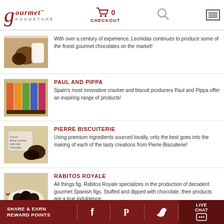Gourmet Foodstore | 0 CHECKOUT
[Figure (photo): Leonidas chocolates product photo]
With over a century of experience, Leonidas continues to produce some of the finest gourmet chocolates on the market!
PAUL AND PIPPA
[Figure (photo): Paul and Pippa product packaging photo]
Spain’s most innovative cracker and biscuit producers Paul and Pippa offer an inspiring range of products!
PIERRE BISCUITERIE
[Figure (photo): Pierre Biscuiterie French butter cookies product photo]
Using premium ingredients sourced locally, only the best goes into the making of each of the tasty creations from Pierre Biscuiterie!
RABITOS ROYALE
[Figure (photo): Rabitos Royale chocolate-covered figs product photo]
All things fig, Rabitos Royale specializes in the production of decadent gourmet Spanish figs. Stuffed and dipped with chocolate, their products are a true indulgence.
SHARE & EARN REWARD POINTS | Facebook | Pinterest | Twitter | LIVE CHAT